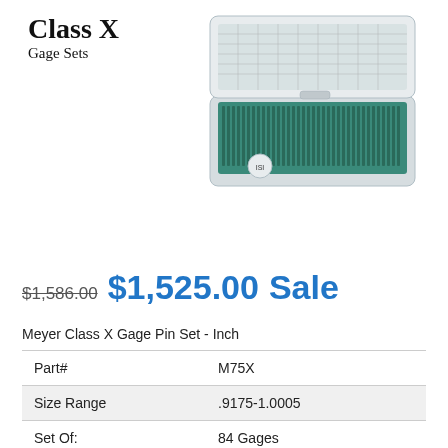Class X
Gage Sets
[Figure (photo): Open case of a Meyer Class X Gage Pin Set showing pins arranged in a teal/green foam-lined white plastic case with lid open]
$1,586.00  $1,525.00 Sale
Meyer Class X Gage Pin Set - Inch
| Part# | M75X |
| Size Range | .9175-1.0005 |
| Set Of: | 84 Gages |